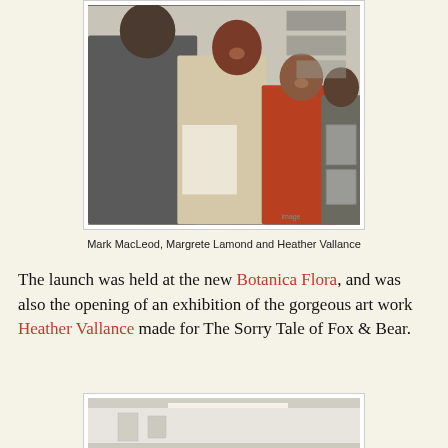[Figure (photo): Four people standing in a gallery space. A man in a grey jacket on the left, a woman with red hair in the center smiling, an older woman in red/orange on the right, and a fourth person partially visible at far right. White walls with framed artwork visible.]
Mark MacLeod, Margrete Lamond and Heather Vallance
The launch was held at the new Botanica Flora, and was also the opening of an exhibition of the gorgeous art work Heather Vallance made for The Sorry Tale of Fox & Bear.
[Figure (photo): Partial view of a gallery interior with white walls and ceiling lighting.]